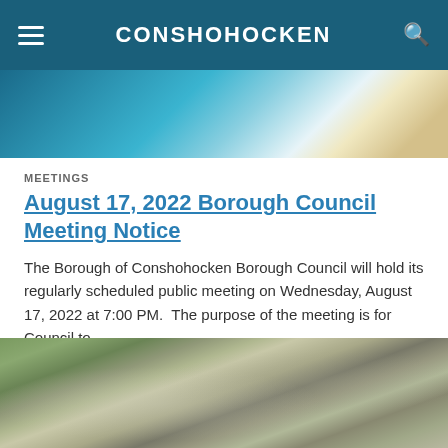CONSHOHOCKEN
[Figure (photo): Partial hero image showing blue and teal decorative elements, cropped at top]
MEETINGS
August 17, 2022 Borough Council Meeting Notice
The Borough of Conshohocken Borough Council will hold its regularly scheduled public meeting on Wednesday, August 17, 2022 at 7:00 PM.  The purpose of the meeting is for Council to...
[Figure (photo): Aerial photograph of Conshohocken borough showing streets, buildings, trees, and a large flat-roofed building in the center]